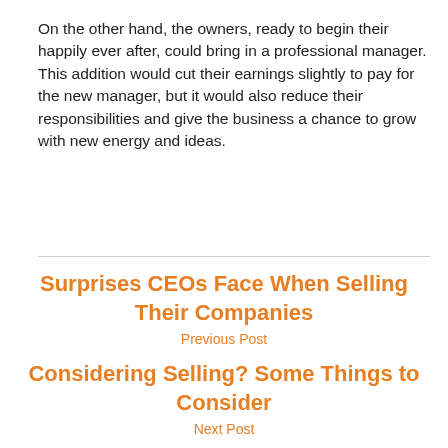On the other hand, the owners, ready to begin their happily ever after, could bring in a professional manager. This addition would cut their earnings slightly to pay for the new manager, but it would also reduce their responsibilities and give the business a chance to grow with new energy and ideas.
Surprises CEOs Face When Selling Their Companies
Previous Post
Considering Selling? Some Things to Consider
Next Post